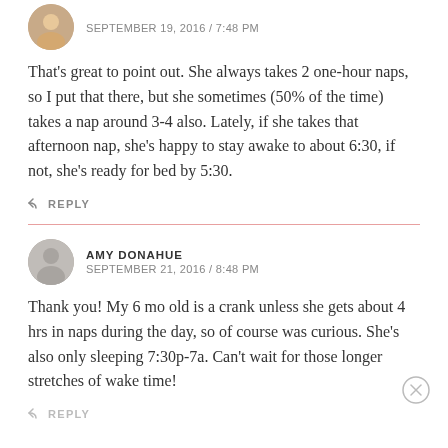SEPTEMBER 19, 2016 / 7:48 PM
That's great to point out. She always takes 2 one-hour naps, so I put that there, but she sometimes (50% of the time) takes a nap around 3-4 also. Lately, if she takes that afternoon nap, she's happy to stay awake to about 6:30, if not, she's ready for bed by 5:30.
REPLY
AMY DONAHUE
SEPTEMBER 21, 2016 / 8:48 PM
Thank you! My 6 mo old is a crank unless she gets about 4 hrs in naps during the day, so of course was curious. She's also only sleeping 7:30p-7a. Can't wait for those longer stretches of wake time!
REPLY